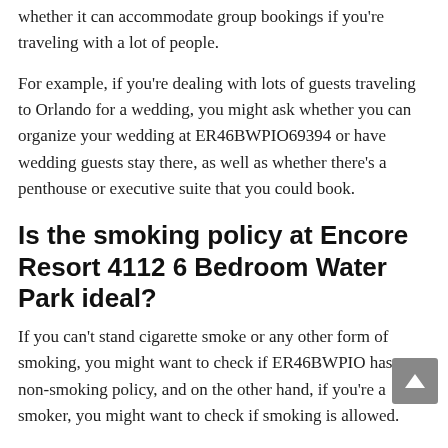whether it can accommodate group bookings if you're traveling with a lot of people.
For example, if you're dealing with lots of guests traveling to Orlando for a wedding, you might ask whether you can organize your wedding at ER46BWPIO69394 or have wedding guests stay there, as well as whether there's a penthouse or executive suite that you could book.
Is the smoking policy at Encore Resort 4112 6 Bedroom Water Park ideal?
If you can't stand cigarette smoke or any other form of smoking, you might want to check if ER46BWPIO has a non-smoking policy, and on the other hand, if you're a smoker, you might want to check if smoking is allowed.
Are there good health and